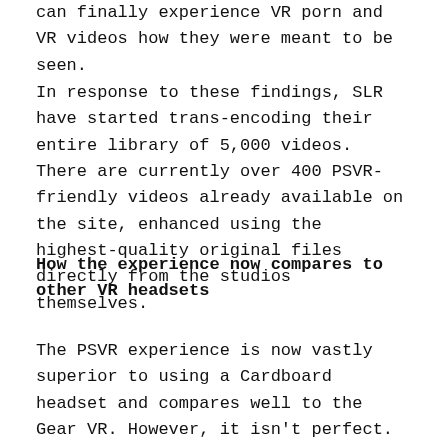can finally experience VR porn and VR videos how they were meant to be seen.
In response to these findings, SLR have started trans-encoding their entire library of 5,000 videos. There are currently over 400 PSVR-friendly videos already available on the site, enhanced using the highest-quality original files directly from the studios themselves.
How the experience now compares to other VR headsets
The PSVR experience is now vastly superior to using a Cardboard headset and compares well to the Gear VR. However, it isn't perfect. Unlike the Oculus Rift and HTC Vive, it isn't capable of displaying 5K footage and above, which is becoming more and more popular. Plus,